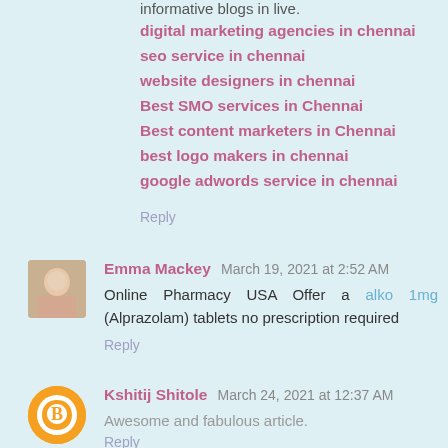informative blogs in live.
digital marketing agencies in chennai
seo service in chennai
website designers in chennai
Best SMO services in Chennai
Best content marketers in Chennai
best logo makers in chennai
google adwords service in chennai
Reply
Emma Mackey  March 19, 2021 at 2:52 AM
Online Pharmacy USA Offer a alko 1mg (Alprazolam) tablets no prescription required
Reply
Kshitij Shitole  March 24, 2021 at 12:37 AM
Awesome and fabulous article.
Reply